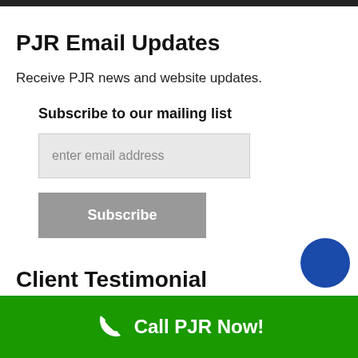[Figure (other): Dark top navigation bar with yellow-gold border]
PJR Email Updates
Receive PJR news and website updates.
Subscribe to our mailing list
[Figure (screenshot): Email input field with placeholder text 'enter email address' and a Subscribe button below]
Client Testimonial
Call PJR Now!